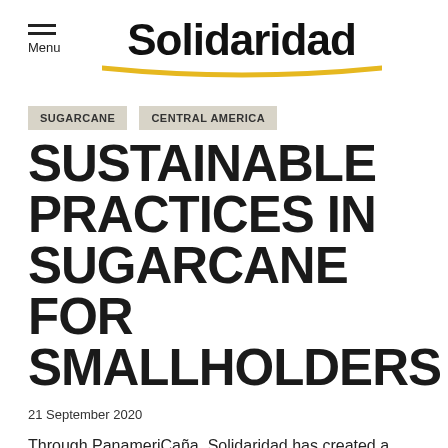Solidaridad
SUGARCANE   CENTRAL AMERICA
SUSTAINABLE PRACTICES IN SUGARCANE FOR SMALLHOLDERS
21 September 2020
Through PanameriCaña, Solidaridad has created a